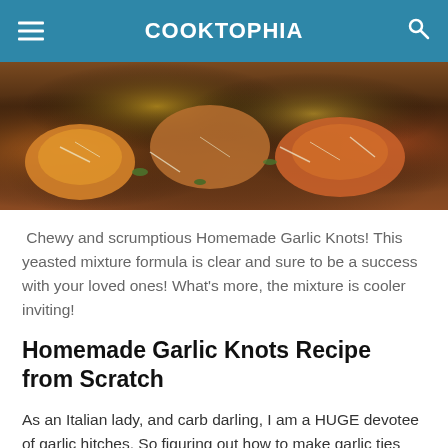COOKTOPHIA
[Figure (photo): Close-up photo of homemade garlic knots with cheese and herbs]
Chewy and scrumptious Homemade Garlic Knots! This yeasted mixture formula is clear and sure to be a success with your loved ones! What's more, the mixture is cooler inviting!
Homemade Garlic Knots Recipe from Scratch
As an Italian lady, and carb darling, I am a HUGE devotee of garlic hitches. So figuring out how to make garlic ties without any preparation was one of my main concerns this year. What's more, learn to expect the unexpected. I learned